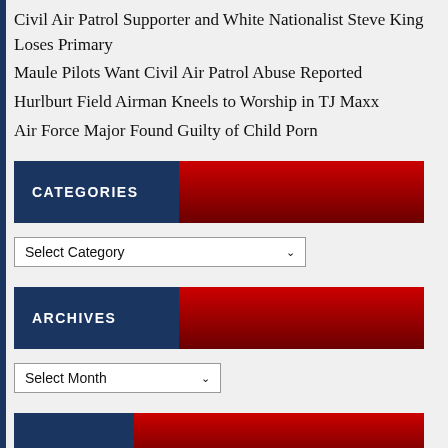Civil Air Patrol Supporter and White Nationalist Steve King Loses Primary
Maule Pilots Want Civil Air Patrol Abuse Reported
Hurlburt Field Airman Kneels to Worship in TJ Maxx
Air Force Major Found Guilty of Child Porn
CATEGORIES
Select Category
ARCHIVES
Select Month